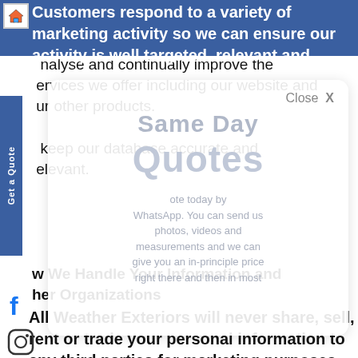[Figure (logo): Home/house icon logo in top left corner]
Customers respond to a variety of marketing activity so we can ensure our activity is well targeted, relevant and effective.
Analyse and continually improve the services we offer including our website and our other products.
To keep our database accurate and relevant.
[Figure (screenshot): Modal overlay popup with title 'Same Day Quotes' and 'Close X' button, with faded text about getting a quote today by WhatsApp, sending photos, videos and measurements]
How We Handle Your Information and Other Organizations
All Weather Exteriors will never share, sell, rent or trade your personal information to any third parties for marketing purposes without your prior consent.